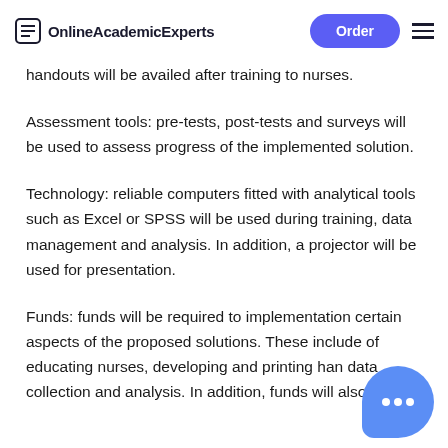OnlineAcademicExperts | Order
handouts will be availed after training to nurses.
Assessment tools: pre-tests, post-tests and surveys will be used to assess progress of the implemented solution.
Technology: reliable computers fitted with analytical tools such as Excel or SPSS will be used during training, data management and analysis. In addition, a projector will be used for presentation.
Funds: funds will be required to implementation certain aspects of the proposed solutions. These include of educating nurses, developing and printing han data collection and analysis. In addition, funds will also